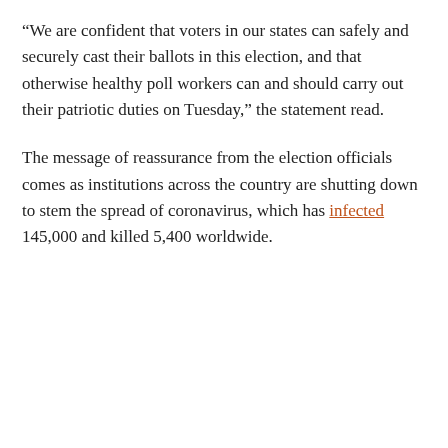“We are confident that voters in our states can safely and securely cast their ballots in this election, and that otherwise healthy poll workers can and should carry out their patriotic duties on Tuesday,” the statement read.
The message of reassurance from the election officials comes as institutions across the country are shutting down to stem the spread of coronavirus, which has infected 145,000 and killed 5,400 worldwide.